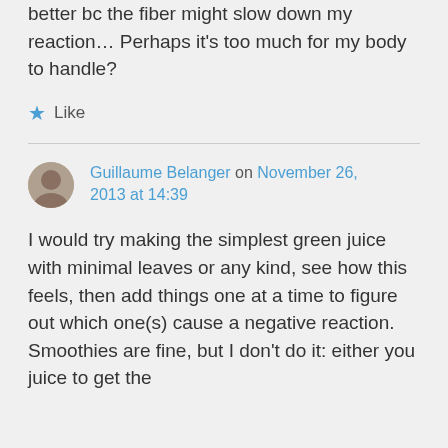better bc the fiber might slow down my reaction… Perhaps it's too much for my body to handle?
Like
Guillaume Belanger on November 26, 2013 at 14:39
I would try making the simplest green juice with minimal leaves or any kind, see how this feels, then add things one at a time to figure out which one(s) cause a negative reaction. Smoothies are fine, but I don't do it: either you juice to get the